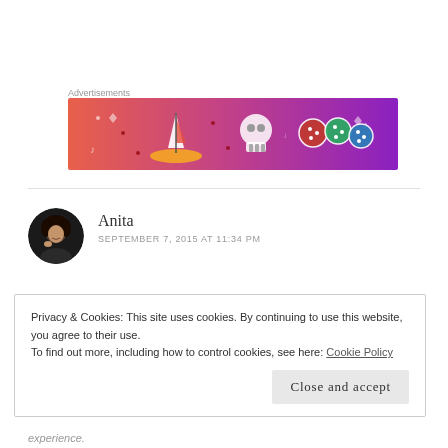Advertisements
[Figure (illustration): Colorful advertisement banner with gradient background from orange-pink to purple, featuring cartoon illustrations of a sailboat, skull, and decorative dice balls with white doodle patterns]
Anita
SEPTEMBER 7, 2015 AT 11:34 PM
Privacy & Cookies: This site uses cookies. By continuing to use this website, you agree to their use.
To find out more, including how to control cookies, see here: Cookie Policy
Close and accept
experience.